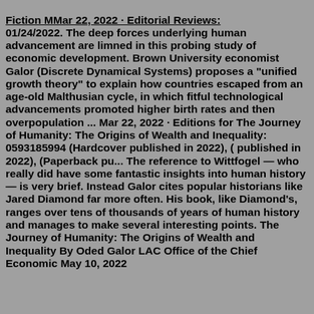Fiction MMar 22, 2022 · Editorial Reviews: 01/24/2022. The deep forces underlying human advancement are limned in this probing study of economic development. Brown University economist Galor (Discrete Dynamical Systems) proposes a "unified growth theory" to explain how countries escaped from an age-old Malthusian cycle, in which fitful technological advancements promoted higher birth rates and then overpopulation ... Mar 22, 2022 · Editions for The Journey of Humanity: The Origins of Wealth and Inequality: 0593185994 (Hardcover published in 2022), ( published in 2022), (Paperback pu... The reference to Wittfogel — who really did have some fantastic insights into human history — is very brief. Instead Galor cites popular historians like Jared Diamond far more often. His book, like Diamond's, ranges over tens of thousands of years of human history and manages to make several interesting points. The Journey of Humanity: The Origins of Wealth and Inequality By Oded Galor LAC Office of the Chief Economic May 10, 2022